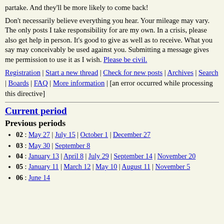partake. And they'll be more likely to come back!
Don't necessarily believe everything you hear. Your mileage may vary. The only posts I take responsibility for are my own. In a crisis, please also get help in person. It's good to give as well as to receive. What you say may conceivably be used against you. Submitting a message gives me permission to use it as I wish. Please be civil.
Registration | Start a new thread | Check for new posts | Archives | Search | Boards | FAQ | More information | [an error occurred while processing this directive]
Current period
Previous periods
02 : May 27 | July 15 | October 1 | December 27
03 : May 30 | September 8
04 : January 13 | April 8 | July 29 | September 14 | November 20
05 : January 11 | March 12 | May 10 | August 11 | November 5
06 : June 14